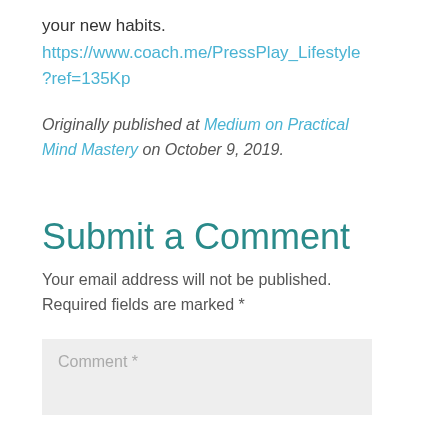your new habits.
https://www.coach.me/PressPlay_Lifestyle?ref=135Kp
Originally published at Medium on Practical Mind Mastery on October 9, 2019.
Submit a Comment
Your email address will not be published. Required fields are marked *
Comment *